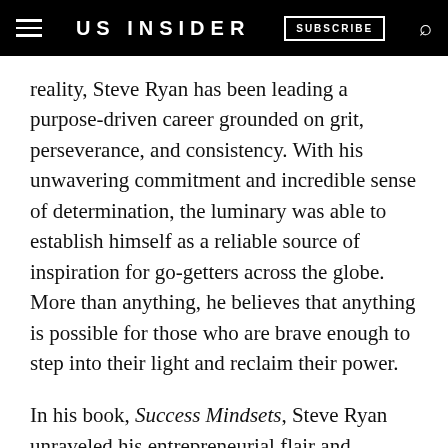US INSIDER | SUBSCRIBE
reality, Steve Ryan has been leading a purpose-driven career grounded on grit, perseverance, and consistency. With his unwavering commitment and incredible sense of determination, the luminary was able to establish himself as a reliable source of inspiration for go-getters across the globe. More than anything, he believes that anything is possible for those who are brave enough to step into their light and reclaim their power.
In his book, Success Mindsets, Steve Ryan unraveled his entrepreneurial flair and revealed some of his proven tips and tricks in conquering any endeavor. At the heart of his vision is the recognition that a lot of aspiring entrepreneurs